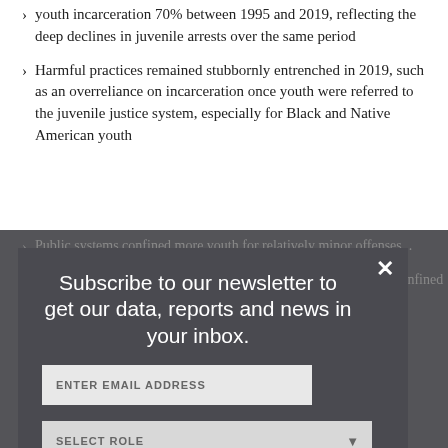youth incarceration 70% between 1995 and 2019, reflecting the deep declines in juvenile arrests over the same period
Harmful practices remained stubbornly entrenched in 2019, such as an overreliance on incarceration once youth were referred to the juvenile justice system, especially for Black and Native American youth
Public systems confined more youth for relatively minor offenses...
Black and Native American youth were particularly likely to be confined than Asian and Pacific Islander, white or Hispanic youth...
Subscribe to our newsletter to get our data, reports and news in your inbox.
ENTER EMAIL ADDRESS
SELECT ROLE
SUBSCRIBE ›
ABOUT THIS REPORT  › Summary  › Table of Contents  › Juvenile Incarceration  › Acknowledgements & Quotations